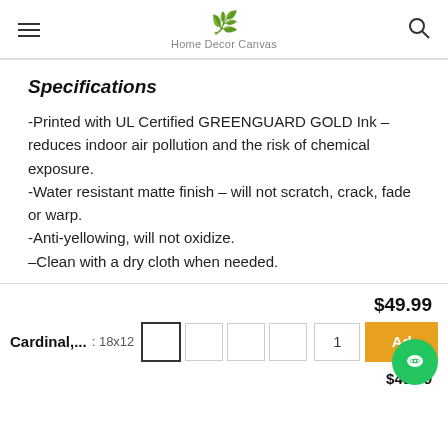Home Decor Canvas
Specifications
-Printed with UL Certified GREENGUARD GOLD Ink – reduces indoor air pollution and the risk of chemical exposure.
-Water resistant matte finish – will not scratch, crack, fade or warp.
-Anti-yellowing, will not oxidize.
–Clean with a dry cloth when needed.
$49.99
Cardinal,... : 18x12
1
Ad
$49.99